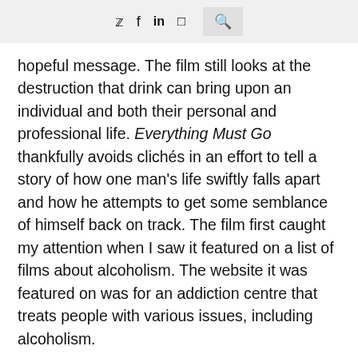𝕐  f  in  🎞  🔍
hopeful message. The film still looks at the destruction that drink can bring upon an individual and both their personal and professional life. Everything Must Go thankfully avoids clichés in an effort to tell a story of how one man's life swiftly falls apart and how he attempts to get some semblance of himself back on track. The film first caught my attention when I saw it featured on a list of films about alcoholism. The website it was featured on was for an addiction centre that treats people with various issues, including alcoholism.
The reason the film lingered in my head